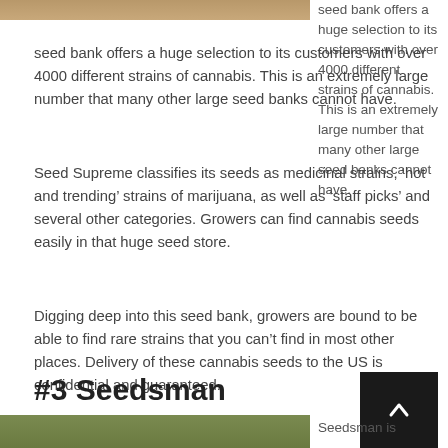[Figure (photo): Top portion of an image, partially visible at the top of the page]
seed bank offers a huge selection to its customers with over 4000 different strains of cannabis. This is an extremely large number that many other large seed banks cannot have.
Seed Supreme classifies its seeds as medicinal strains, ‘hot and trending’ strains of marijuana, as well as ‘staff picks’ and several other categories. Growers can find cannabis seeds easily in that huge seed store.
Digging deep into this seed bank, growers are bound to be able to find rare strains that you can’t find in most other places. Delivery of these cannabis seeds to the US is confidential and guaranteed.
#3 Seedsman
[Figure (photo): Bottom image partially visible, appears to show green plant material]
Seedsman is